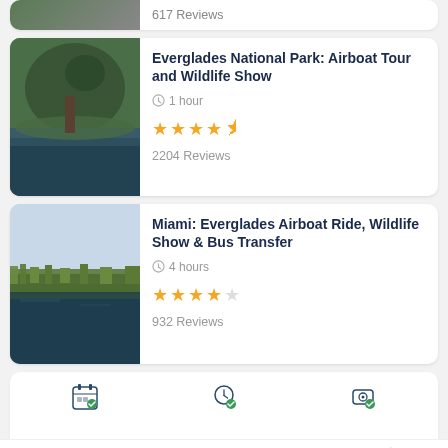[Figure (screenshot): Partial top card showing a nature/wildlife thumbnail and '617 Reviews' text]
Everglades National Park: Airboat Tour and Wildlife Show
1 hour
4.5 stars rating
2204 Reviews
Miami: Everglades Airboat Ride, Wildlife Show & Bus Transfer
4 hours
4 stars rating
932 Reviews
[Figure (infographic): Icon row with booking, schedule, and budget icons]
Vehicle Service You Can Trust
Learn More
Ad